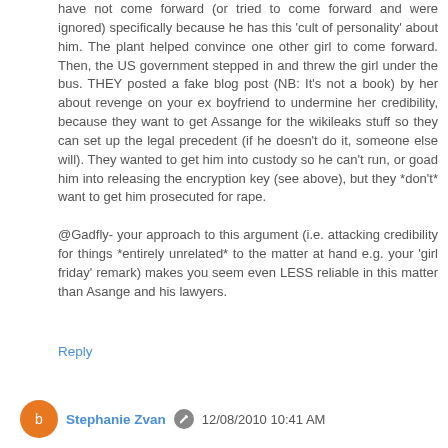have not come forward (or tried to come forward and were ignored) specifically because he has this 'cult of personality' about him. The plant helped convince one other girl to come forward. Then, the US government stepped in and threw the girl under the bus. THEY posted a fake blog post (NB: It's not a book) by her about revenge on your ex boyfriend to undermine her credibility, because they want to get Assange for the wikileaks stuff so they can set up the legal precedent (if he doesn't do it, someone else will). They wanted to get him into custody so he can't run, or goad him into releasing the encryption key (see above), but they *don't* want to get him prosecuted for rape.

@Gadfly- your approach to this argument (i.e. attacking credibility for things *entirely unrelated* to the matter at hand e.g. your 'girl friday' remark) makes you seem even LESS reliable in this matter than Asange and his lawyers.
Reply
Stephanie Zvan  12/08/2010 10:41 AM